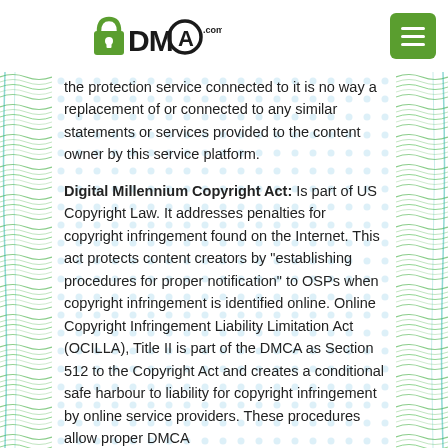[Figure (logo): DMCA.com logo with padlock icon and text 'DMCA.com']
the protection service connected to it is no way a replacement of or connected to any similar statements or services provided to the content owner by this service platform.
Digital Millennium Copyright Act: Is part of US Copyright Law. It addresses penalties for copyright infringement found on the Internet. This act protects content creators by "establishing procedures for proper notification" to OSPs when copyright infringement is identified online. Online Copyright Infringement Liability Limitation Act (OCILLA), Title II is part of the DMCA as Section 512 to the Copyright Act and creates a conditional safe harbour to liability for copyright infringement by online service providers. These procedures allow proper DMCA